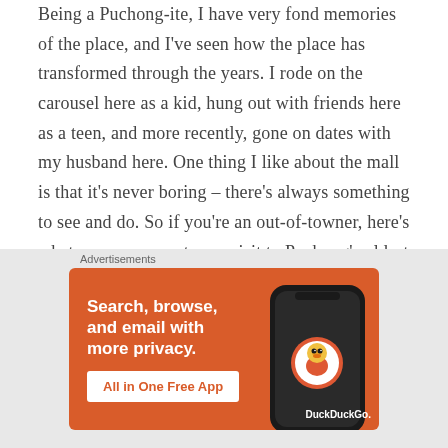Being a Puchong-ite, I have very fond memories of the place, and I've seen how the place has transformed through the years. I rode on the carousel here as a kid, hung out with friends here as a teen, and more recently, gone on dates with my husband here. One thing I like about the mall is that it's never boring – there's always something to see and do. So if you're an out-of-towner, here's what you can expect on a visit to Puchong's oldest mall:
[Figure (screenshot): DuckDuckGo advertisement banner with orange background. Text reads 'Search, browse, and email with more privacy. All in One Free App' with a phone mockup showing DuckDuckGo logo.]